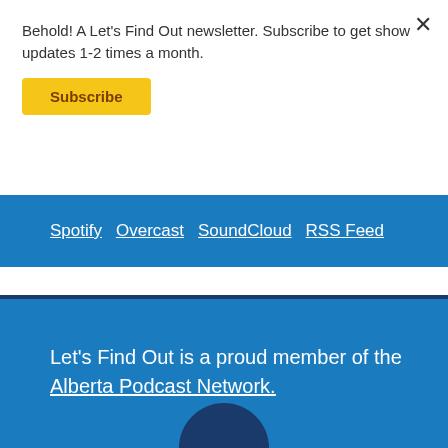Behold! A Let's Find Out newsletter. Subscribe to get show updates 1-2 times a month.
Subscribe
Spotify Overcast SoundCloud RSS Feed
Let's Find Out is a proud member of the Alberta Podcast Network.